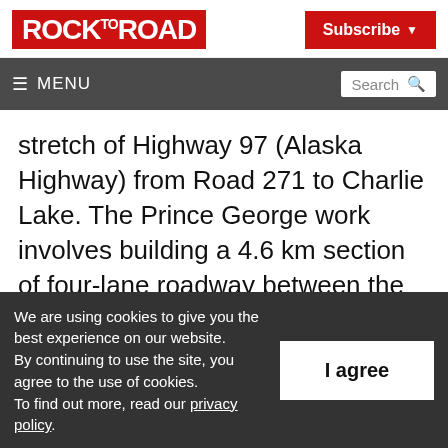ROCK to ROAD
Subscribe
≡ MENU  Search
stretch of Highway 97 (Alaska Highway) from Road 271 to Charlie Lake. The Prince George work involves building a 4.6 km section of four-lane roadway between the Simon Fraser Bridge and Sintich Rd. at a cost of $30.8 million. In Quesnel, $21.5 million will be
We are using cookies to give you the best experience on our website. By continuing to use the site, you agree to the use of cookies. To find out more, read our privacy policy.
I agree